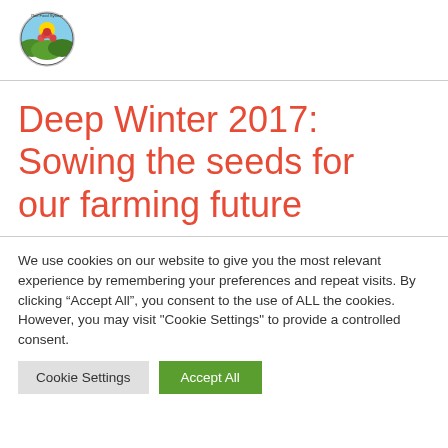[Figure (logo): One Food System circular logo with colorful farm/sun imagery and text around the border]
Deep Winter 2017: Sowing the seeds for our farming future
We use cookies on our website to give you the most relevant experience by remembering your preferences and repeat visits. By clicking “Accept All”, you consent to the use of ALL the cookies. However, you may visit "Cookie Settings" to provide a controlled consent.
Cookie Settings  Accept All